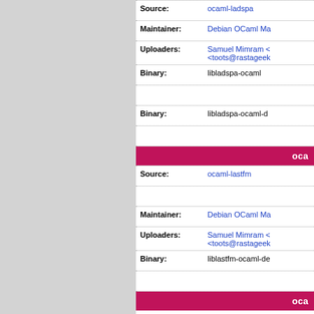| Field | Value |
| --- | --- |
| Source: | ocaml-ladspa |
| Maintainer: | Debian OCaml Ma... |
| Uploaders: | Samuel Mimram < <toots@rastageek... |
| Binary: | libladspa-ocaml |
| Binary: | libladspa-ocaml-d... |
oca
| Field | Value |
| --- | --- |
| Source: | ocaml-lastfm |
| Maintainer: | Debian OCaml Ma... |
| Uploaders: | Samuel Mimram < <toots@rastageek... |
| Binary: | liblastfm-ocaml-de... |
oca